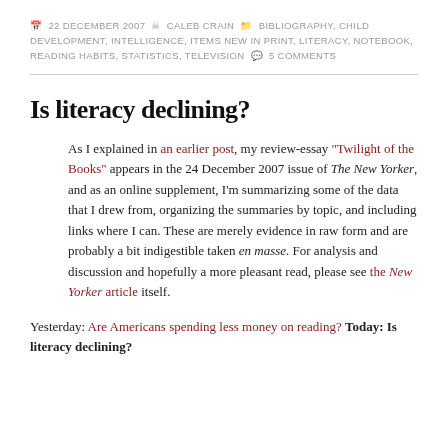22 DECEMBER 2007  CALEB CRAIN  BIBLIOGRAPHY, CHILD DEVELOPMENT, INTELLIGENCE, ITEMS NEW IN PRINT, LITERACY, NOTEBOOK, READING HABITS, STATISTICS, TELEVISION  5 COMMENTS
Is literacy declining?
As I explained in an earlier post, my review-essay “Twilight of the Books” appears in the 24 December 2007 issue of The New Yorker, and as an online supplement, I’m summarizing some of the data that I drew from, organizing the summaries by topic, and including links where I can. These are merely evidence in raw form and are probably a bit indigestible taken en masse. For analysis and discussion and hopefully a more pleasant read, please see the New Yorker article itself.
Yesterday: Are Americans spending less money on reading? Today: Is literacy declining?